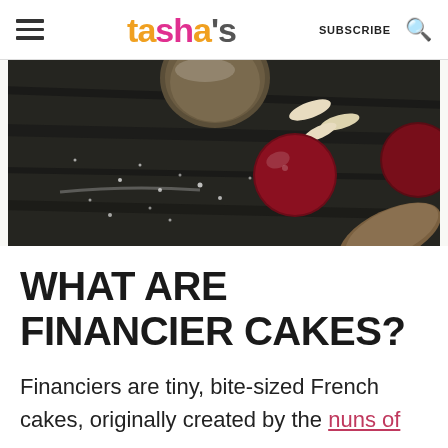tasha's — SUBSCRIBE
[Figure (photo): Close-up food photography on dark wooden table showing cranberries/cherries, sliced almonds, and a round baked financier cake dusted with powdered sugar]
WHAT ARE FINANCIER CAKES?
Financiers are tiny, bite-sized French cakes, originally created by the nuns of